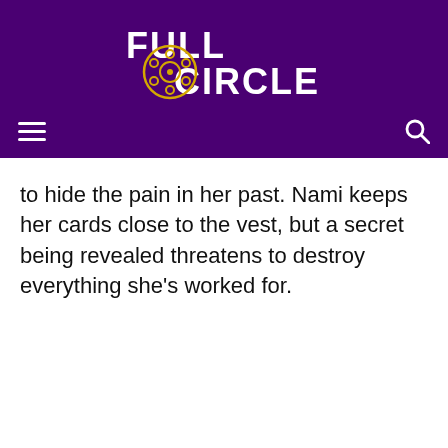[Figure (logo): Full Circle film magazine logo: white bold text 'FULL CIRCLE' with a gold/yellow film reel icon, on dark purple background]
to hide the pain in her past. Nami keeps her cards close to the vest, but a secret being revealed threatens to destroy everything she’s worked for.